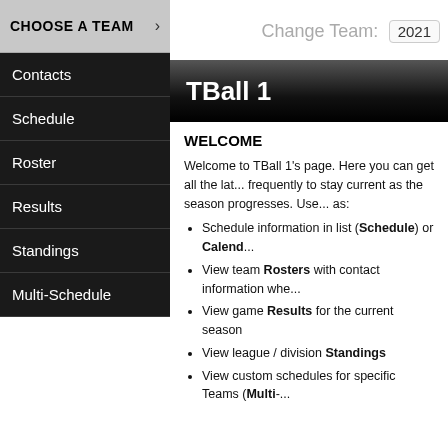CHOOSE A TEAM
Contacts
Schedule
Roster
Results
Standings
Multi-Schedule
Change Team: 2021
TBall 1
WELCOME
Welcome to TBall 1's page. Here you can get all the lat... frequently to stay current as the season progresses. Use... as:
Schedule information in list (Schedule) or Calend...
View team Rosters with contact information whe...
View game Results for the current season
View league / division Standings
View custom schedules for specific Teams (Multi-...